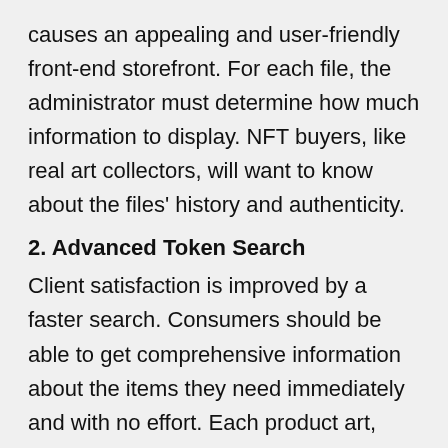causes an appealing and user-friendly front-end storefront. For each file, the administrator must determine how much information to display. NFT buyers, like real art collectors, will want to know about the files' history and authenticity.
2. Advanced Token Search
Client satisfaction is improved by a faster search. Consumers should be able to get comprehensive information about the items they need immediately and with no effort. Each product art, image, music, video, meme should be aligned with certain features in your NFT